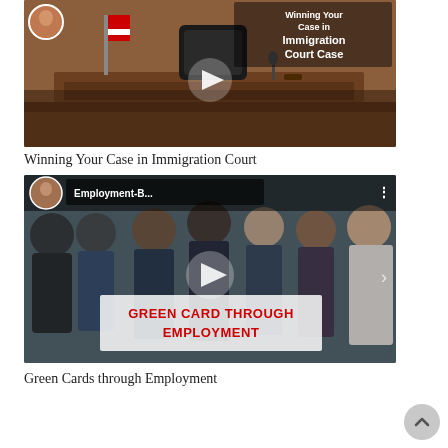[Figure (screenshot): Video thumbnail for 'Winning Your Case in Immigration Court' showing a courtroom with judge's bench, American flag, with a play button overlay and bold white text title in upper right]
Winning Your Case in Immigration Court
[Figure (screenshot): Video thumbnail for 'Employment-B...' (Employment-Based Green Card) showing a group of business professionals, with play button, avatar of presenter, and red text overlay reading 'GREEN CARD THROUGH EMPLOYMENT']
Green Cards through Employment